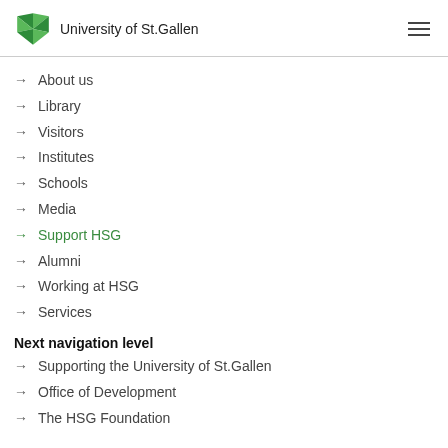University of St.Gallen
About us
Library
Visitors
Institutes
Schools
Media
Support HSG
Alumni
Working at HSG
Services
Next navigation level
Supporting the University of St.Gallen
Office of Development
The HSG Foundation